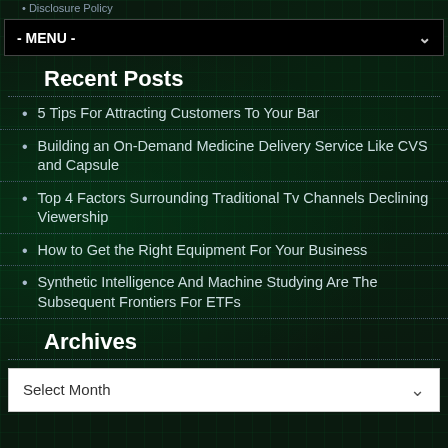Disclosure Policy
- MENU -
Recent Posts
5 Tips For Attracting Customers To Your Bar
Building an On-Demand Medicine Delivery Service Like CVS and Capsule
Top 4 Factors Surrounding Traditional Tv Channels Declining Viewership
How to Get the Right Equipment For Your Business
Synthetic Intelligence And Machine Studying Are The Subsequent Frontiers For ETFs
Archives
Select Month